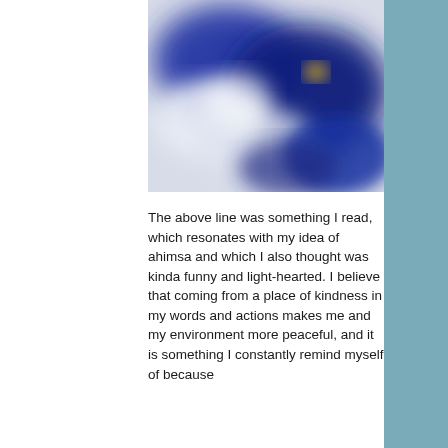[Figure (illustration): Abstract blurred painting with dark navy blue shapes and white/light grey areas, with a small golden/yellow accent, resembling clouds or abstract forms]
The above line was something I read, which resonates with my idea of ahimsa and which I also thought was kinda funny and light-hearted. I believe that coming from a place of kindness in my words and actions makes me and my environment more peaceful, and it is something I constantly remind myself of because